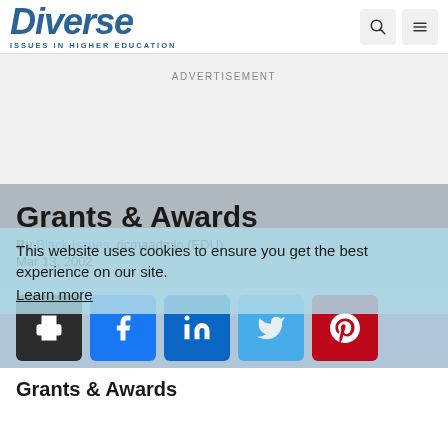Diverse: Issues in Higher Education
ADVERTISEMENT
Grants & Awards
By Black Issues, ricmaadmin (EDU)
Mar 13, 2002
This website uses cookies to ensure you get the best experience on our site. Learn more
[Figure (other): Social share buttons: print, Facebook, LinkedIn, Twitter, Pinterest]
Grants & Awards